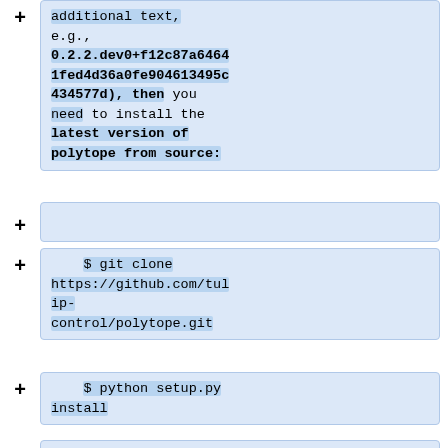additional text, e.g., 0.2.2.dev0+f12c87a64641fed4d36a0fe904613495c434577d), then you need to install the latest version of polytope from source:
$ git clone https://github.com/tulip-control/polytope.git
$ python setup.py install
'''matplotlib:''' matplotlib is not required for TuliP...